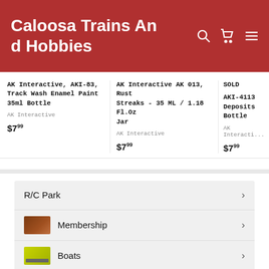Caloosa Trains And Hobbies
AK Interactive, AKI-83, Track Wash Enamel Paint 35ml Bottle
AK Interactive
$7.99
AK Interactive AK 013, Rust Streaks - 35 ML / 1.18 Fl.Oz Jar
AK Interactive
$7.99
SOLD OUT
AKI-4113 Deposits Bottle
AK Interactive
$7.99
R/C Park
Membership
Boats